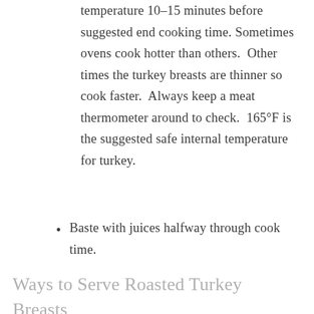temperature 10–15 minutes before suggested end cooking time. Sometimes ovens cook hotter than others.  Other times the turkey breasts are thinner so cook faster.  Always keep a meat thermometer around to check.  165°F is the suggested safe internal temperature for turkey.
Baste with juices halfway through cook time.
Ways to Serve Roasted Turkey Breasts